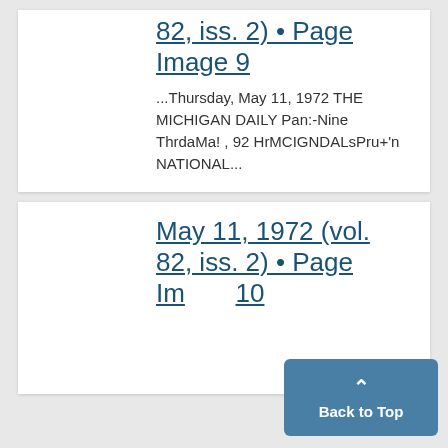82, iss. 2) • Page Image 9
...Thursday, May 11, 1972 THE MICHIGAN DAILY Pan:-Nine ThrdaMa! , 92 HrMCIGNDALsPru+'n NATIONAL...
May 11, 1972 (vol. 82, iss. 2) • Page Image 10